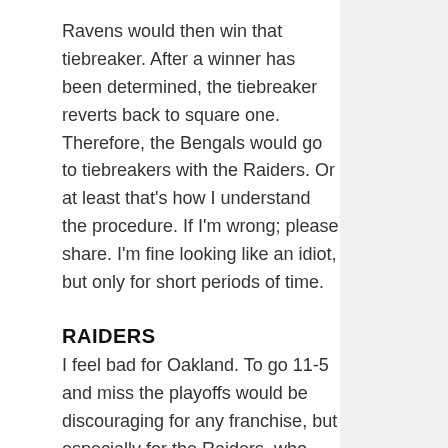Ravens would then win that tiebreaker. After a winner has been determined, the tiebreaker reverts back to square one. Therefore, the Bengals would go to tiebreakers with the Raiders. Or at least that's how I understand the procedure. If I'm wrong; please share. I'm fine looking like an idiot, but only for short periods of time.
RAIDERS
I feel bad for Oakland. To go 11-5 and miss the playoffs would be discouraging for any franchise, but especially for the Raiders, who have been the laughing stock of the league in recent years. But